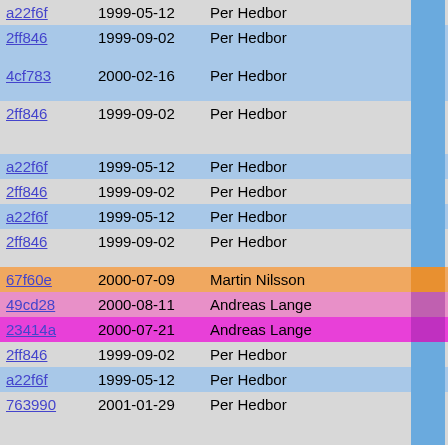| hash | date | author | bar | code |
| --- | --- | --- | --- | --- |
| a22f6f | 1999-05-12 | Per Hedbor |  | } |
| 2ff846 | 1999-09-02 | Per Hedbor |  | modifi
config |
| 4cf783 | 2000-02-16 | Per Hedbor |  | if(con
{ |
| 2ff846 | 1999-09-02 | Per Hedbor |  | conf
conf
conf |
| a22f6f | 1999-05-12 | Per Hedbor |  | } else |
| 2ff846 | 1999-09-02 | Per Hedbor |  | if(e |
| a22f6f | 1999-05-12 | Per Hedbor |  | { |
| 2ff846 | 1999-09-02 | Per Hedbor |  | co
}) { |
| 67f60e | 2000-07-09 | Martin Nilsson |  | st |
| 49cd28 | 2000-08-11 | Andreas Lange |  | re |
| 23414a | 2000-07-21 | Andreas Lange |  |  |
| 2ff846 | 1999-09-02 | Per Hedbor |  | co |
| a22f6f | 1999-05-12 | Per Hedbor |  | } |
| 763990 | 2001-01-29 | Per Hedbor |  | func
catc
sp( |